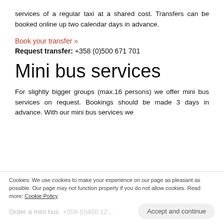services of a regular taxi at a shared cost. Transfers can be booked online up two calendar days in advance.
Book your transfer »
Request transfer: +358 (0)500 671 701
Mini bus services
For slightly bigger groups (max.16 persons) we offer mini bus services on request. Bookings should be made 3 days in advance. With our mini bus services we
Cookies: We use cookies to make your experience on our page as pleasant as possible. Our page may not function properly if you do not allow cookies. Read more: Cookie Policy
Order a mini bus +358 (0)400 12...
Accept and continue